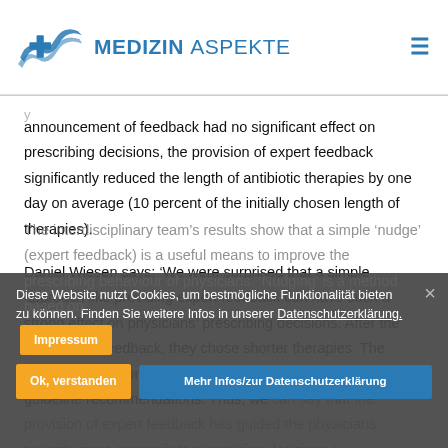MEDIZIN ASPEKTE
announcement of feedback had no significant effect on prescribing decisions, the provision of expert feedback significantly reduced the length of antibiotic therapies by one day on average (10 percent of the initially chosen length of therapies).
Daniel Wiesen says: ‘We were surprised that a simple approach like providing expert feedback can have such a strong effect on physicians’ prescribing decisions. After the provision of feedback, they chose shorter therapies. The treatment decisions were also more in line with expert and guideline recommendations. Thus, we can say that the provision of expert feedback has guided the physicians towards more appropriate prescribing decisions.’
The interdisciplinary team’s results show that a simple ‘nudge’ (expert feedback) is a useful means to improve the prescribing behaviour of physicians. ‘Nudging’ is a method based on: behaviour theory with the aim of influencing people’s behaviour
Diese Website nutzt Cookies, um bestmögliche Funktionalität bieten zu können. Finden Sie weitere Infos in unserer Datenschutzerklärung.